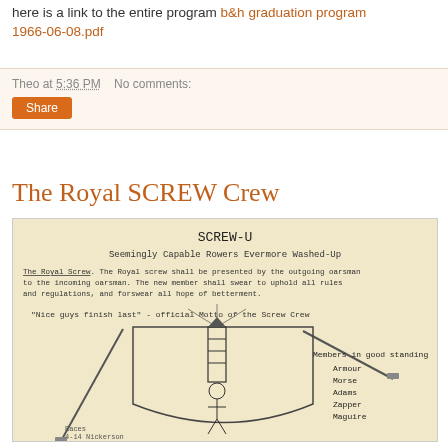here is a link to the entire program b&h graduation program 1966-06-08.pdf
Theo at 5:36 PM   No comments:
Share
The Royal SCREW Crew
[Figure (photo): Handwritten document on aged paper showing 'SCREW-U, Seemingly Capable Rowers Evermore Washed-Up' with text about The Royal Screw rules and motto 'Nice guys finish last - official Motto of the Screw Crew', along with a drawing and a list of Members in good standing: Armour, Morse, Adams, Zapper, Maguire]